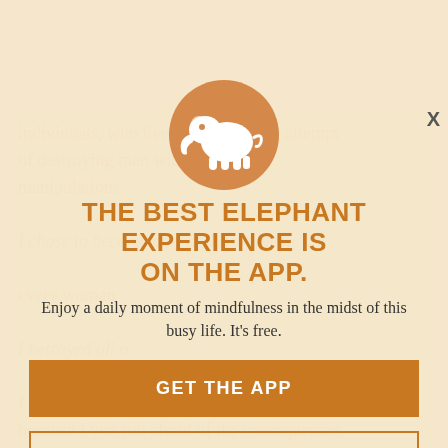words of a man who described women as second-class citizens—power hungry
[Figure (infographic): App promotion modal overlay with elephant logo on orange circle, headline 'THE BEST ELEPHANT EXPERIENCE IS ON THE APP.', subtext 'Enjoy a daily moment of mindfulness in the midst of this busy life. It's free.', and two buttons: 'GET THE APP' and 'OPEN IN APP'. Background shows watermarked article text in orange/tan tones.]
GET THE APP
OPEN IN APP